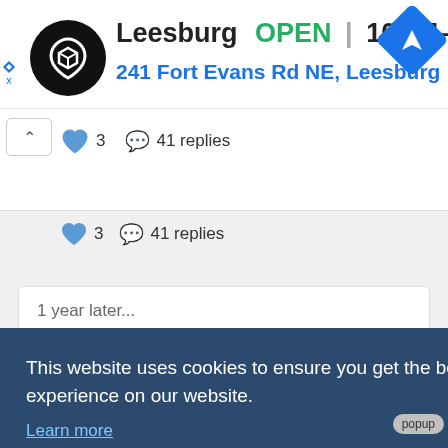[Figure (screenshot): Store ad banner showing Leesburg store logo, OPEN status, hours 10AM-9PM, navigation icon, and address 241 Fort Evans Rd NE, Leesburg]
3   41 replies
1 year later...
This website uses cookies to ensure you get the best experience on our website. Learn more
Got it!
#include <StaticConstants.au3>